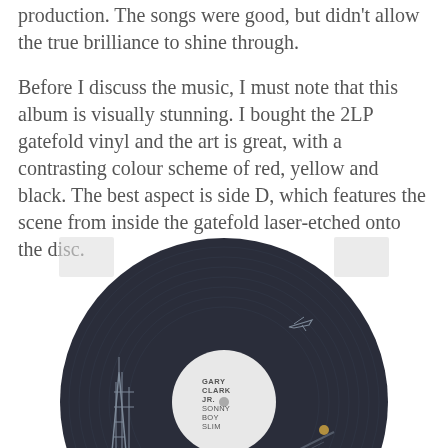production. The songs were good, but didn't allow the true brilliance to shine through.
Before I discuss the music, I must note that this album is visually stunning. I bought the 2LP gatefold vinyl and the art is great, with a contrasting colour scheme of red, yellow and black. The best aspect is side D, which features the scene from inside the gatefold laser-etched onto the disc.
[Figure (photo): A dark vinyl record (LP) with a white center label, featuring laser-etched artwork showing a city scene with buildings, trees, an airplane, and architectural details. Text on the record reads: GARY CLARK JR. SONNY BOY SLIM]